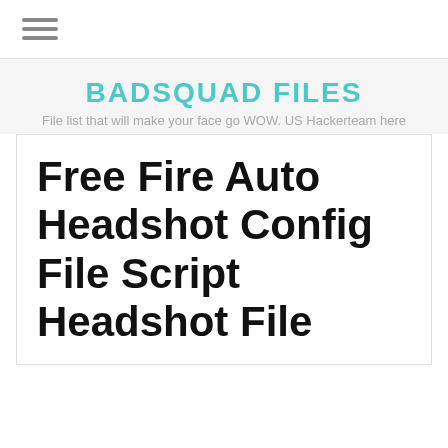[Figure (other): Hamburger menu icon (three horizontal lines)]
BADSQUAD FILES
File list that will make your face go WOW. US Hackerteam here
Free Fire Auto Headshot Config File Script Headshot File